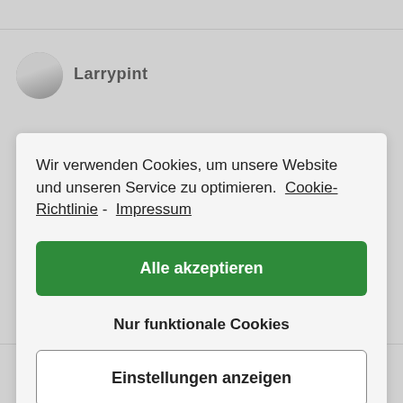[Figure (screenshot): Cookie consent modal dialog overlaying a webpage. The modal contains text about cookie usage with links to Cookie-Richtlinie and Impressum, a green 'Alle akzeptieren' button, a 'Nur funktionale Cookies' text link, and an 'Einstellungen anzeigen' outlined button. Behind the modal, partially visible webpage content shows user avatars and usernames 'Larrypint' and 'fettundmuskoln'.]